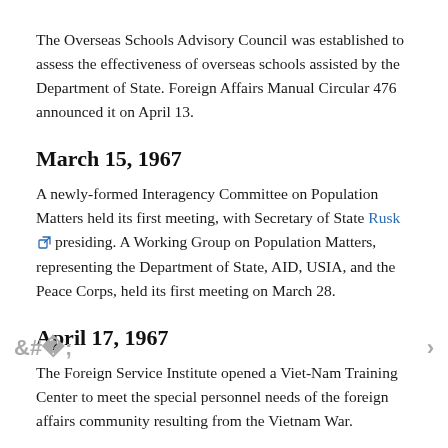The Overseas Schools Advisory Council was established to assess the effectiveness of overseas schools assisted by the Department of State. Foreign Affairs Manual Circular 476 announced it on April 13.
March 15, 1967
A newly-formed Interagency Committee on Population Matters held its first meeting, with Secretary of State Rusk presiding. A Working Group on Population Matters, representing the Department of State, AID, USIA, and the Peace Corps, held its first meeting on March 28.
April 17, 1967
The Foreign Service Institute opened a Viet-Nam Training Center to meet the special personnel needs of the foreign affairs community resulting from the Vietnam War.
April 21, 1967